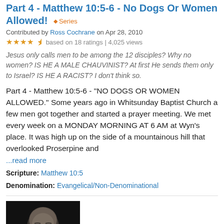Part 4 - Matthew 10:5-6 - No Dogs Or Women Allowed! Series
Contributed by Ross Cochrane on Apr 28, 2010
based on 18 ratings | 4,025 views
Jesus only calls men to be among the 12 disciples? Why no women? IS HE A MALE CHAUVINIST? At first He sends them only to Israel? IS HE A RACIST? I don't think so.
Part 4 - Matthew 10:5-6 - "NO DOGS OR WOMEN ALLOWED." Some years ago in Whitsunday Baptist Church a few men got together and started a prayer meeting. We met every week on a MONDAY MORNING AT 6 AM at Wyn's place. It was high up on the side of a mountainous hill that overlooked Proserpine and
...read more
Scripture: Matthew 10:5
Denomination: Evangelical/Non-Denominational
[Figure (photo): Black and white photo of a bald older man with a beard, looking downward, on a dark background.]